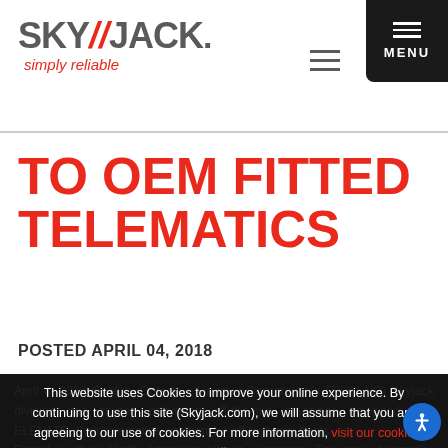[Figure (logo): Skyjack logo with red slash marks and tagline 'simply reliable']
TO OEM FITTED TELEMATICS
POSTED APRIL 04, 2018
This website uses Cookies to improve your online experience. By continuing to use this site (Skyjack.com), we will assume that you are agreeing to our use of cookies. For more information, visit our cookie policy.
April 4, 2018 Guelph, Ontario – Linamar Corporation's (TSX:LNR) Skyjack division has started delivering off-the-line machines equipped with ELEVATE, their telematics solution for off-highway fleets, Algeco Scotsman Rental is their North American launch customer. This new telematics solution has already passed some key acceptance tests...